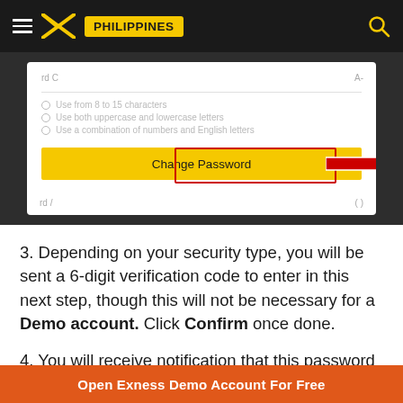PHILIPPINES
[Figure (screenshot): Screenshot showing a 'Change Password' button in a yellow bar with a red arrow pointing to it. Above the button are bullet points: 'Use from 8 to 15 characters', 'Use both uppercase and lowercase letters', 'Use a combination of numbers and English letters'.]
3. Depending on your security type, you will be sent a 6-digit verification code to enter in this next step, though this will not be necessary for a Demo account. Click Confirm once done.
4. You will receive notification that this password has been successfully changed.
Open Exness Demo Account For Free